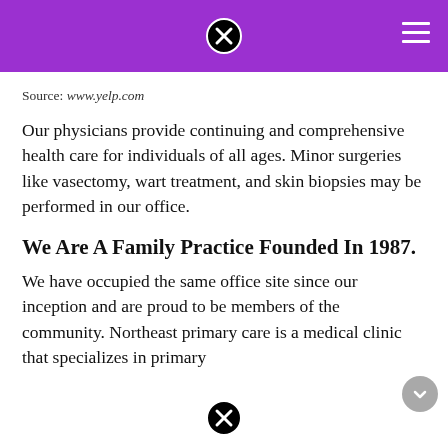Source: www.yelp.com
Our physicians provide continuing and comprehensive health care for individuals of all ages. Minor surgeries like vasectomy, wart treatment, and skin biopsies may be performed in our office.
We Are A Family Practice Founded In 1987.
We have occupied the same office site since our inception and are proud to be members of the community. Northeast primary care is a medical clinic that specializes in primary